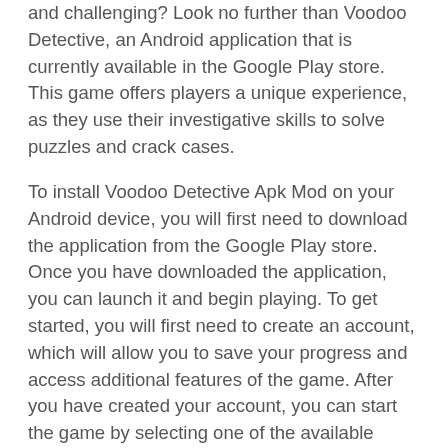and challenging? Look no further than Voodoo Detective, an Android application that is currently available in the Google Play store. This game offers players a unique experience, as they use their investigative skills to solve puzzles and crack cases.
To install Voodoo Detective Apk Mod on your Android device, you will first need to download the application from the Google Play store. Once you have downloaded the application, you can launch it and begin playing. To get started, you will first need to create an account, which will allow you to save your progress and access additional features of the game. After you have created your account, you can start the game by selecting one of the available cases.